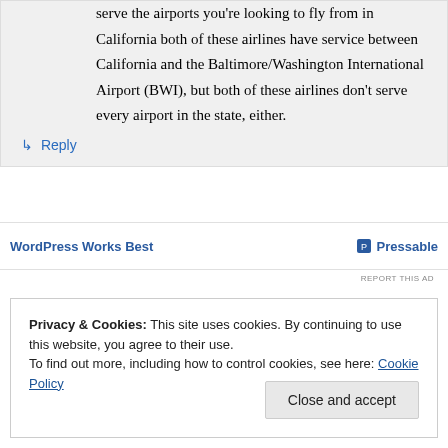serve the airports you're looking to fly from in California both of these airlines have service between California and the Baltimore/Washington International Airport (BWI), but both of these airlines don't serve every airport in the state, either.
↳ Reply
[Figure (other): WordPress Works Best | Pressable advertisement banner with REPORT THIS AD text]
Privacy & Cookies: This site uses cookies. By continuing to use this website, you agree to their use.
To find out more, including how to control cookies, see here: Cookie Policy
Close and accept